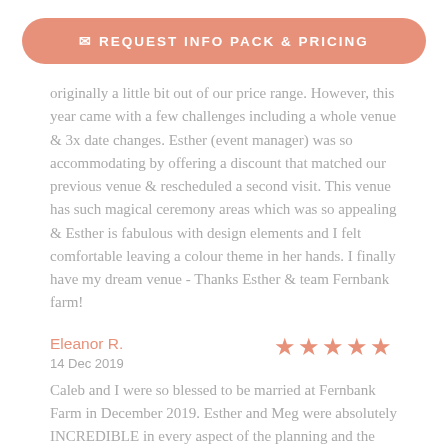[Figure (other): Button/CTA bar with envelope icon and text REQUEST INFO PACK & PRICING]
originally a little bit out of our price range. However, this year came with a few challenges including a whole venue & 3x date changes. Esther (event manager) was so accommodating by offering a discount that matched our previous venue & rescheduled a second visit. This venue has such magical ceremony areas which was so appealing & Esther is fabulous with design elements and I felt comfortable leaving a colour theme in her hands. I finally have my dream venue - Thanks Esther & team Fernbank farm!
Eleanor R.
[Figure (other): 5-star rating shown as 5 filled star icons in salmon/coral color]
14 Dec 2019
Caleb and I were so blessed to be married at Fernbank Farm in December 2019. Esther and Meg were absolutely INCREDIBLE in every aspect of the planning and the wedding day